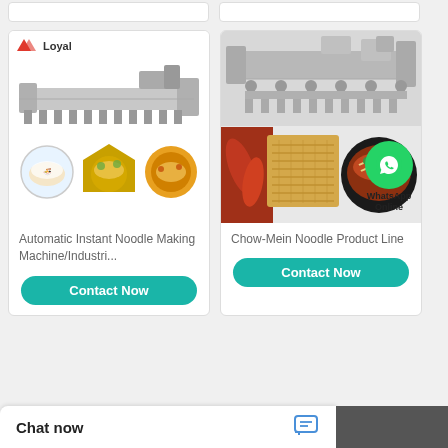[Figure (screenshot): Top stub of product cards from previous scroll position]
[Figure (photo): Left product card: Automatic Instant Noodle Making Machine with Loyal logo, machine photo, and three noodle bowl images]
Automatic Instant Noodle Making Machine/Industri...
[Figure (other): Contact Now button for left card]
[Figure (photo): Right product card: Chow-Mein Noodle Product Line with machine photo, instant noodle cake and bowl images, and WhatsApp Online overlay]
Chow-Mein Noodle Product Line
[Figure (other): Contact Now button for right card]
Chat now